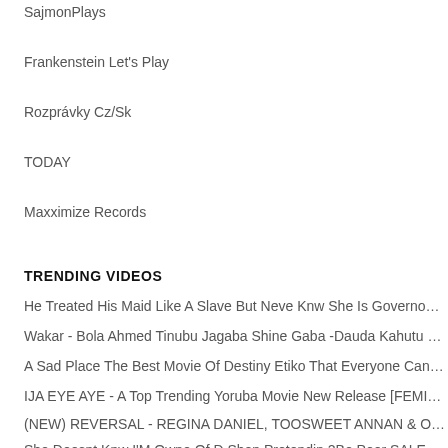SajmonPlays
Frankenstein Let's Play
Rozprávky Cz/Sk
TODAY
Maxximize Records
TRENDING VIDEOS
He Treated His Maid Like A Slave But Neve Knw She Is Governo…
Wakar - Bola Ahmed Tinubu Jagaba Shine Gaba -Dauda Kahutu …
A Sad Place The Best Movie Of Destiny Etiko That Everyone Can…
IJA EYE AYE - A Top Trending Yoruba Movie New Release [FEMI…
(NEW) REVERSAL - REGINA DANIEL, TOOSWEET ANNAN & O…
She Doesnt Knw I'M Owne Of D Shop Pretendin 2Be Poor SALE-…